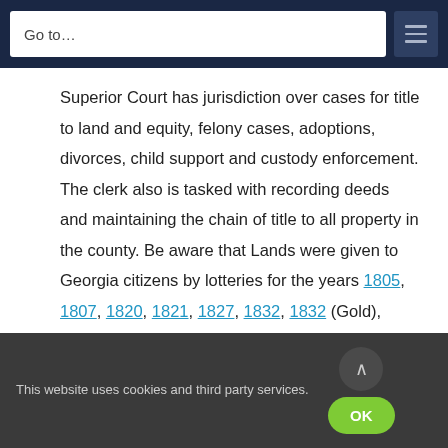Go to…
Superior Court has jurisdiction over cases for title to land and equity, felony cases, adoptions, divorces, child support and custody enforcement. The clerk also is tasked with recording deeds and maintaining the chain of title to all property in the county. Be aware that Lands were given to Georgia citizens by lotteries for the years 1805, 1807, 1820, 1821, 1827, 1832, 1832 (Gold), 1833.
Wilkinson County Clerk of Probate Court
This website uses cookies and third party services.